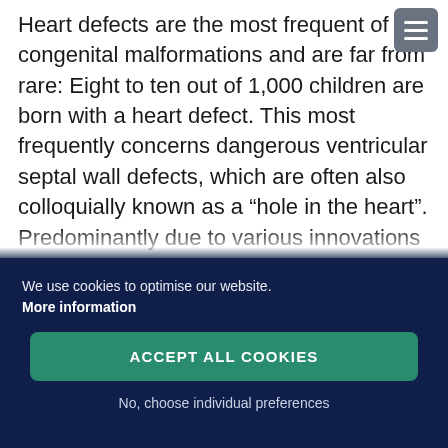Heart defects are the most frequent of congenital malformations and are far from rare: Eight to ten out of 1,000 children are born with a heart defect. This most frequently concerns dangerous ventricular septal wall defects, which are often also colloquially known as a “hole in the heart”. Predominantly due to various innovations in medical technology around 90 percent of all people born with a congenital heart defect in developed industrialised countries now reach adulthood. In addition to surgical treatment, many heart defects can today be treated with
We use cookies to optimise our website.
More information
ACCEPT ALL COOKIES
No, choose individual preferences